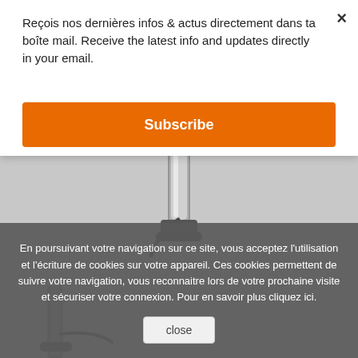Reçois nos dernières infos & actus directement dans ta boîte mail. Receive the latest info and updates directly in your email.
Subscribe
[Figure (photo): Close-up product photo of a bicycle floor pump, silver/metallic finish with dark hose and foot base, shown vertically]
En poursuivant votre navigation sur ce site, vous acceptez l'utilisation et l'écriture de cookies sur votre appareil. Ces cookies permettent de suivre votre navigation, vous reconnaitre lors de votre prochaine visite et sécuriser votre connexion. Pour en savoir plus cliquez ici.
close
[Figure (photo): Partial product photo of a bicycle pump at bottom of screen, partially obscured by cookie banner overlay]